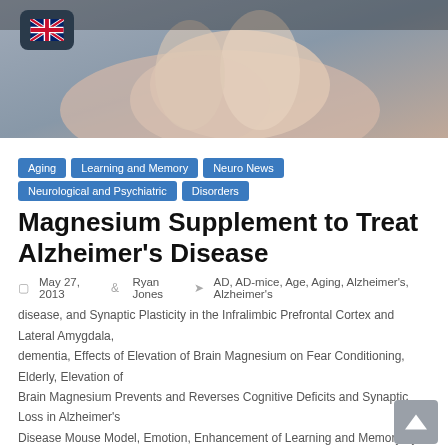[Figure (photo): Close-up photo of hands pressed together (prayer-like gesture), blurred background, with a British flag icon in a dark rounded box overlaid in the top-left corner.]
Aging
Learning and Memory
Neuro News
Neurological and Psychiatric Disorders
Magnesium Supplement to Treat Alzheimer's Disease
May 27, 2013   Ryan Jones   AD, AD-mice, Age, Aging, Alzheimer's, Alzheimer's disease, and Synaptic Plasticity in the Infralimbic Prefrontal Cortex and Lateral Amygdala, dementia, Effects of Elevation of Brain Magnesium on Fear Conditioning, Elderly, Elevation of Brain Magnesium Prevents and Reverses Cognitive Deficits and Synaptic Loss in Alzheimer's Disease Mouse Model, Emotion, Enhancement of Learning and Memory by Elevating Brain Magnesium, Enhancement of Synaptic Plasticity through Chronically Reduced Ca2+ Flux during Uncorrelated Activity, Fear Extinction, Journal of Neuroscience, Learning, Liu, Magnesium, Memory, Mg2+, MIT, Neuron, NMDA, NMDA receptors, Old, Slutsky, Supplement,